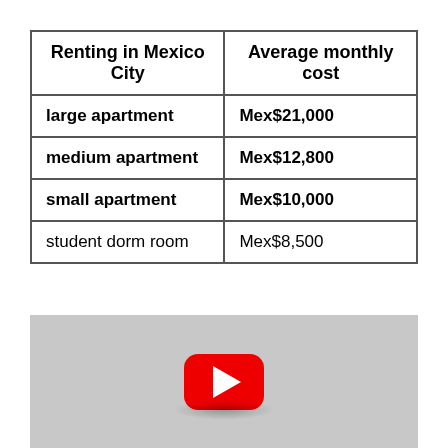| Renting in Mexico City | Average monthly cost |
| --- | --- |
| large apartment | Mex$21,000 |
| medium apartment | Mex$12,800 |
| small apartment | Mex$10,000 |
| student dorm room | Mex$8,500 |
[Figure (screenshot): YouTube video thumbnail/embed placeholder showing a YouTube play button on a gray background]